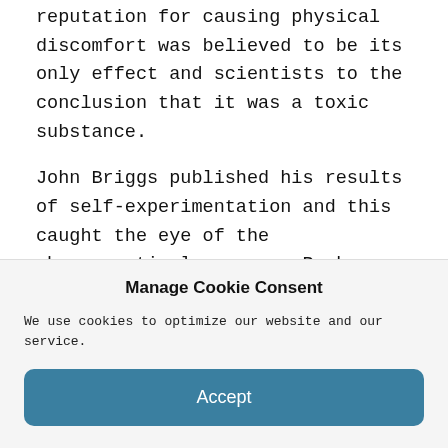reputation for causing physical discomfort was believed to be its only effect and scientists to the conclusion that it was a toxic substance.
John Briggs published his results of self-experimentation and this caught the eye of the pharmaceutical company, Parke Davis.
Mike Jay reports that Parke Davis tried procuring dried peyote buttons from peyoteros, and had
Manage Cookie Consent
We use cookies to optimize our website and our service.
Accept